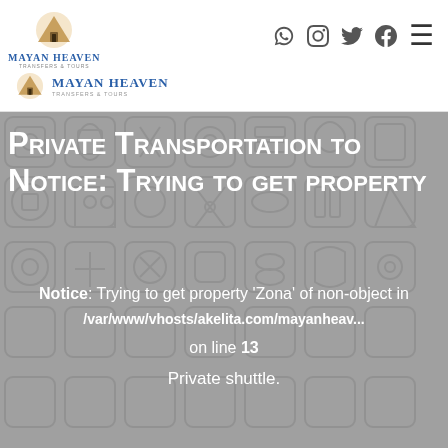[Figure (logo): Mayan Heaven Transfers & Tours logo with pyramid icon, top navigation bar with social icons (WhatsApp, Instagram, Twitter, Facebook) and hamburger menu]
[Figure (logo): Mayan Heaven Transfers & Tours secondary logo, smaller, below main header]
Private Transportation to Notice: Trying to get property
Notice: Trying to get property 'Zona' of non-object in /var/www/vhosts/akelita.com/mayanheav... on line 13
Private shuttle.